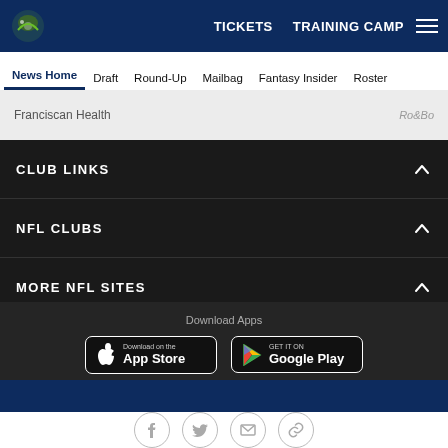TICKETS  TRAINING CAMP
News Home  Draft  Round-Up  Mailbag  Fantasy Insider  Roster
Franciscan Health
CLUB LINKS
NFL CLUBS
MORE NFL SITES
Download Apps
[Figure (screenshot): Download on the App Store button]
[Figure (screenshot): Get it on Google Play button]